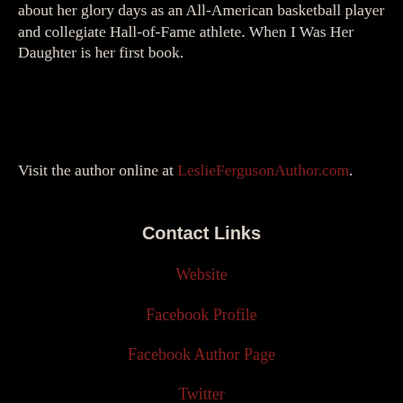about her glory days as an All-American basketball player and collegiate Hall-of-Fame athlete. When I Was Her Daughter is her first book.
Visit the author online at LeslieFergusonAuthor.com.
Contact Links
Website
Facebook Profile
Facebook Author Page
Twitter
Blog
Goodreads